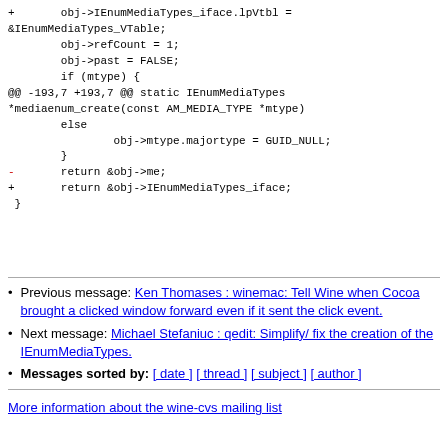+       obj->IEnumMediaTypes_iface.lpVtbl = &IEnumMediaTypes_VTable;
        obj->refCount = 1;
        obj->past = FALSE;
        if (mtype) {
@@ -193,7 +193,7 @@ static IEnumMediaTypes *mediaenum_create(const AM_MEDIA_TYPE *mtype)
        else
                obj->mtype.majortype = GUID_NULL;
        }
-       return &obj->me;
+       return &obj->IEnumMediaTypes_iface;
 }
Previous message: Ken Thomases : winemac: Tell Wine when Cocoa brought a clicked window forward even if it sent the click event.
Next message: Michael Stefaniuc : qedit: Simplify/ fix the creation of the IEnumMediaTypes.
Messages sorted by: [ date ] [ thread ] [ subject ] [ author ]
More information about the wine-cvs mailing list